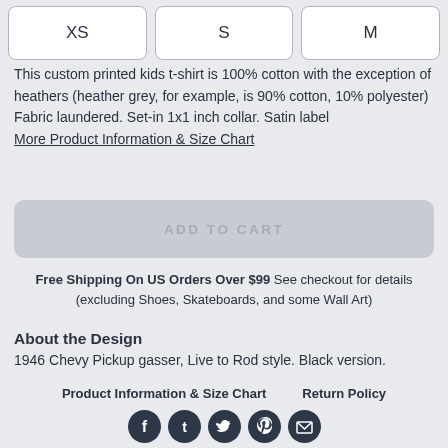[Figure (other): Size selection buttons: XS, S, M]
This custom printed kids t-shirt is 100% cotton with the exception of heathers (heather grey, for example, is 90% cotton, 10% polyester) Fabric laundered. Set-in 1x1 inch collar. Satin label More Product Information & Size Chart
[Figure (other): Add to Cart button (greyed out/disabled)]
Free Shipping On US Orders Over $99 See checkout for details (excluding Shoes, Skateboards, and some Wall Art)
About the Design
1946 Chevy Pickup gasser, Live to Rod style. Black version.
Product Information & Size Chart    Return Policy
[Figure (other): Social share icons: Facebook, Tumblr, Twitter, Pinterest, Email]